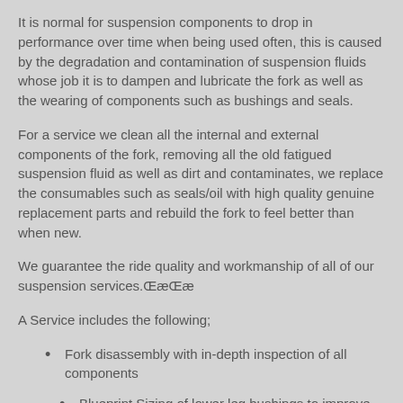It is normal for suspension components to drop in performance over time when being used often, this is caused by the degradation and contamination of suspension fluids whose job it is to dampen and lubricate the fork as well as the wearing of components such as bushings and seals.
For a service we clean all the internal and external components of the fork, removing all the old fatigued suspension fluid as well as dirt and contaminates, we replace the consumables such as seals/oil with high quality genuine replacement parts and rebuild the fork to feel better than when new.
We guarantee the ride quality and workmanship of all of our suspension services.ŒæŒæ
A Service includes the following;
Fork disassembly with in-depth inspection of all components
Blueprint Sizing of lower leg bushings to improve small bump ride quality and fork longevity
Inspection and bleeding of Charger damper (where applicable)